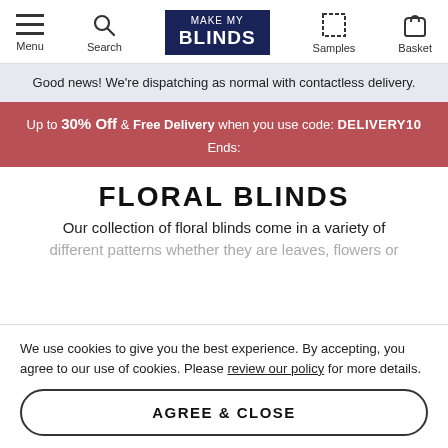Menu | Search | MAKE MY BLINDS | Samples | Basket
Good news! We're dispatching as normal with contactless delivery.
Up to 30% Off & Free Delivery when you use code: DELIVERY10 Ends:
FLORAL BLINDS
Our collection of floral blinds come in a variety of different patterns whether they are leaves, flowers or
We use cookies to give you the best experience. By accepting, you agree to our use of cookies. Please review our policy for more details.
AGREE & CLOSE